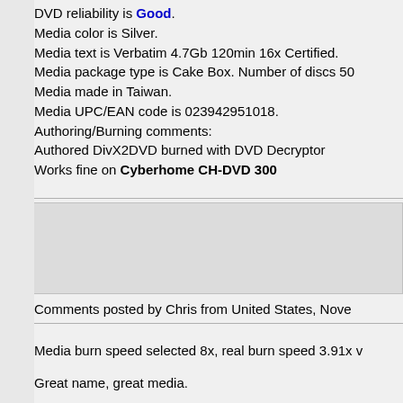DVD reliability is Good. Media color is Silver. Media text is Verbatim 4.7Gb 120min 16x Certified. Media package type is Cake Box. Number of discs 50 Media made in Taiwan. Media UPC/EAN code is 023942951018. Authoring/Burning comments: Authored DivX2DVD burned with DVD Decryptor Works fine on Cyberhome CH-DVD 300
Comments posted by Chris from United States, Nove
Media burn speed selected 8x, real burn speed 3.91x. Great name, great media.
My writer & software reliability is very good. I've used to burn and I have been very successful.
Additional information: